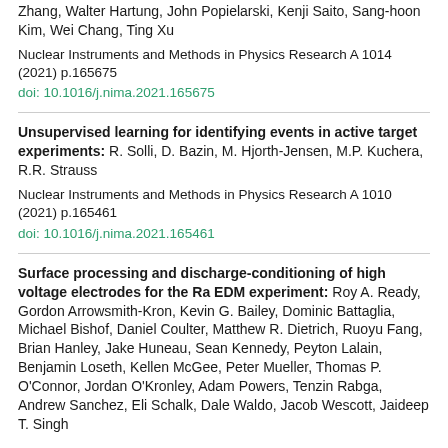Zhang, Walter Hartung, John Popielarski, Kenji Saito, Sang-hoon Kim, Wei Chang, Ting Xu

Nuclear Instruments and Methods in Physics Research A 1014 (2021) p.165675
doi: 10.1016/j.nima.2021.165675
Unsupervised learning for identifying events in active target experiments: R. Solli, D. Bazin, M. Hjorth-Jensen, M.P. Kuchera, R.R. Strauss

Nuclear Instruments and Methods in Physics Research A 1010 (2021) p.165461
doi: 10.1016/j.nima.2021.165461
Surface processing and discharge-conditioning of high voltage electrodes for the Ra EDM experiment: Roy A. Ready, Gordon Arrowsmith-Kron, Kevin G. Bailey, Dominic Battaglia, Michael Bishof, Daniel Coulter, Matthew R. Dietrich, Ruoyu Fang, Brian Hanley, Jake Huneau, Sean Kennedy, Peyton Lalain, Benjamin Loseth, Kellen McGee, Peter Mueller, Thomas P. O'Connor, Jordan O'Kronley, Adam Powers, Tenzin Rabga, Andrew Sanchez, Eli Schalk, Dale Waldo, Jacob Wescott, Jaideep T. Singh